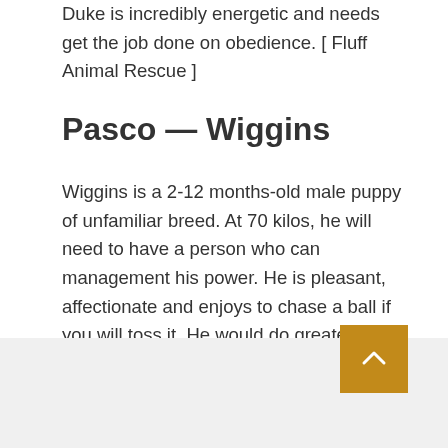Duke is incredibly energetic and needs get the job done on obedience. [ Fluff Animal Rescue ]
Pasco — Wiggins
Wiggins is a 2-12 months-old male puppy of unfamiliar breed. At 70 kilos, he will need to have a person who can management his power. He is pleasant, affectionate and enjoys to chase a ball if you will toss it. He would do greatest in a property with out other animals or tiny youngsters. He has a trouble with jumping, and requirements to study how to choose treats more carefully. For extra info, contact Pasco County Animal Companies at 813-929-1212.